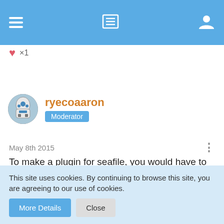[Figure (screenshot): Top navigation bar with hamburger menu, list icon, and user profile icon on blue background]
×1
[Figure (photo): Avatar image of R2-D2 robot from Star Wars]
ryecoaaron
Moderator
May 8th 2015
To make a plugin for seafile, you would have to recreate everything in the setup script. Syncing the users would
This site uses cookies. By continuing to browse this site, you are agreeing to our use of cookies.
More Details
Close